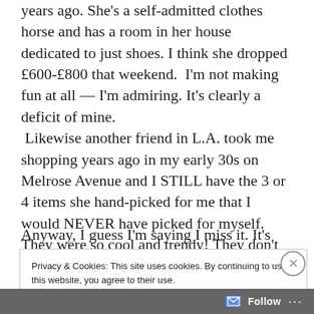years ago. She's a self-admitted clothes horse and has a room in her house dedicated to just shoes. I think she dropped £600-£800 that weekend. I'm not making fun at all — I'm admiring. It's clearly a deficit of mine. Likewise another friend in L.A. took me shopping years ago in my early 30s on Melrose Avenue and I STILL have the 3 or 4 items she hand-picked for me that I would NEVER have picked for myself. They were so cool and trendy! They don't fit, of course, but I still have them. Thinking I can recycle them for my daughter?
Anyway, I guess I'm saying I miss it. It's not to say I
Privacy & Cookies: This site uses cookies. By continuing to use this website, you agree to their use.
To find out more, including how to control cookies, see here: Cookie Policy
Close and accept